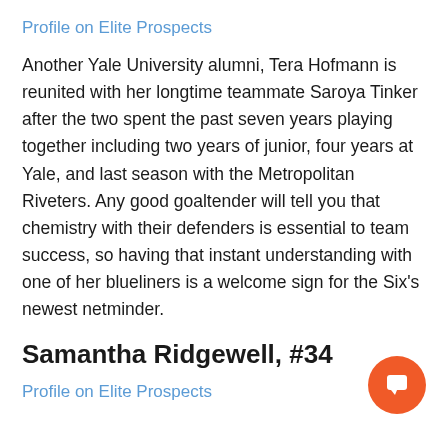Profile on Elite Prospects
Another Yale University alumni, Tera Hofmann is reunited with her longtime teammate Saroya Tinker after the two spent the past seven years playing together including two years of junior, four years at Yale, and last season with the Metropolitan Riveters. Any good goaltender will tell you that chemistry with their defenders is essential to team success, so having that instant understanding with one of her blueliners is a welcome sign for the Six’s newest netminder.
Samantha Ridgewell, #34
Profile on Elite Prospects
[Figure (other): Orange circular button with a comment/chat icon]